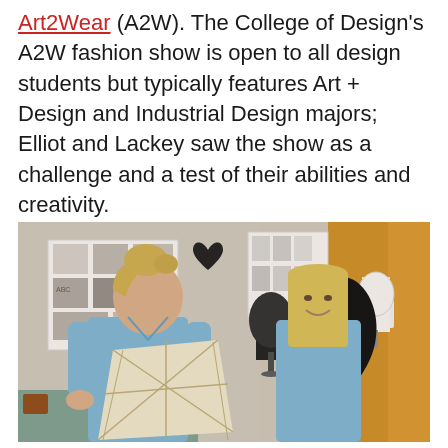Art2Wear (A2W). The College of Design's A2W fashion show is open to all design students but typically features Art + Design and Industrial Design majors; Elliot and Lackey saw the show as a challenge and a test of their abilities and creativity.
[Figure (photo): Two young women in blue shirts standing in a design studio workspace, smiling. The left woman holds a large geometric white/cream patterned garment piece. The right woman stands beside a dress form with black fabric/feathers. The background shows design sketches and mood boards pinned to the wall.]